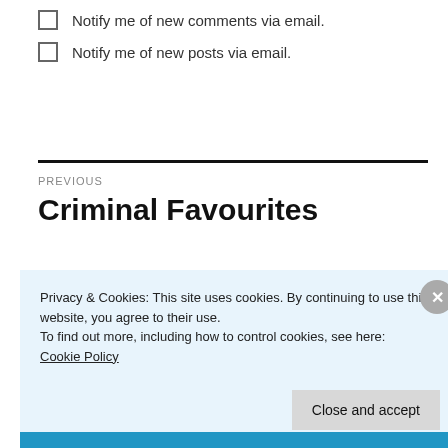Notify me of new comments via email.
Notify me of new posts via email.
PREVIOUS
Criminal Favourites
Privacy & Cookies: This site uses cookies. By continuing to use this website, you agree to their use.
To find out more, including how to control cookies, see here: Cookie Policy
Close and accept